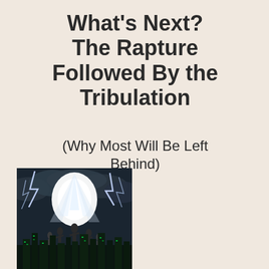What's Next? The Rapture Followed By the Tribulation
(Why Most Will Be Left Behind)
[Figure (illustration): Dramatic illustration of the Rapture: silhouettes of people being lifted upward into a bright light, with lightning bolts, surrounded by dark storm clouds, and a glowing green cityscape below.]
RAPTURE is a term used to describe the removal of the...